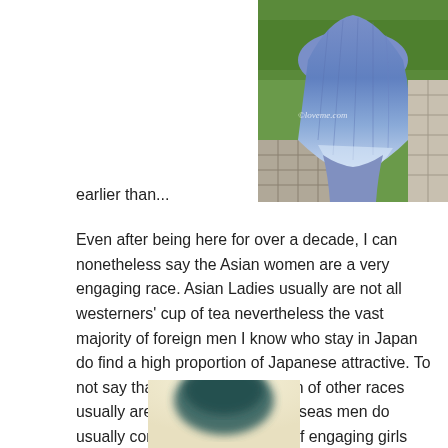[Figure (photo): Photo of a person with long blue-to-white gradient dyed hair, wearing a blue outfit, standing outdoors near green shrubs and tiled pavement. A watermark reads '©loveme.com'.]
earlier than...
Even after being here for over a decade, I can nonetheless say the Asian women are a very engaging race. Asian Ladies usually are not all westerners' cup of tea nevertheless the vast majority of foreign men I know who stay in Japan do find a high proportion of Japanese attractive. To not say that western and women of other races usually are not enticing but overseas men do usually comment on the share of engaging girls here in
[Figure (photo): Partially visible blurred photo of a person with dark teal/green hair, bottom portion of the page.]